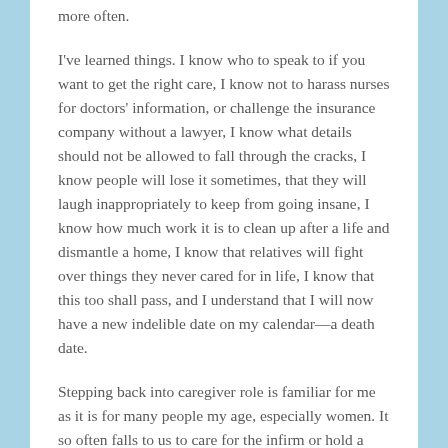more often.
I've learned things. I know who to speak to if you want to get the right care, I know not to harass nurses for doctors' information, or challenge the insurance company without a lawyer, I know what details should not be allowed to fall through the cracks, I know people will lose it sometimes, that they will laugh inappropriately to keep from going insane, I know how much work it is to clean up after a life and dismantle a home, I know that relatives will fight over things they never cared for in life, I know that this too shall pass, and I understand that I will now have a new indelible date on my calendar—a death date.
Stepping back into caregiver role is familiar for me as it is for many people my age, especially women. It so often falls to us to care for the infirm or hold a hand as a spirit slips quietly